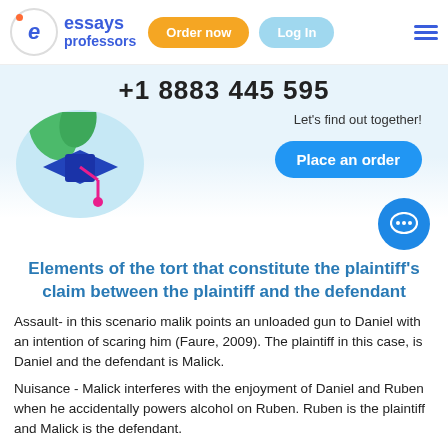[Figure (logo): Essays Professors logo with stylized 'e' in circle, orange dot, blue text]
Order now
Log In
+1 8883 445 595
Let's find out together!
[Figure (illustration): Blue graduation cap with pink tassel on light blue circular background]
Place an order
Elements of the tort that constitute the plaintiff's claim between the plaintiff and the defendant
Assault- in this scenario malik points an unloaded gun to Daniel with an intention of scaring him (Faure, 2009). The plaintiff in this case, is Daniel and the defendant is Malick.
Nuisance - Malick interferes with the enjoyment of Daniel and Ruben when he accidentally powers alcohol on Ruben. Ruben is the plaintiff and Malick is the defendant.